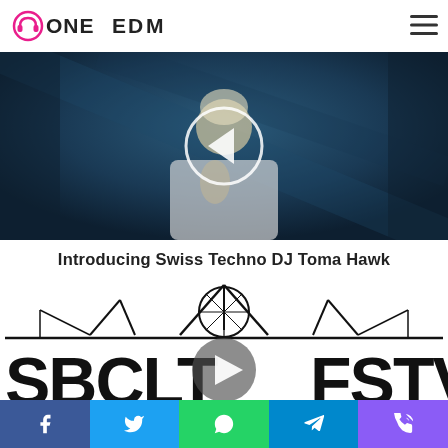OneEDM
[Figure (photo): DJ Toma Hawk - blonde male in white t-shirt with play button overlay circle and left arrow, dark blue background]
Introducing Swiss Techno DJ Toma Hawk
[Figure (photo): SBCLTR FSTVL festival logo - black and white graphic with ferris wheel/roller coaster structure, large stylized letters, play/forward button circle overlay]
[Figure (infographic): Share bar with Facebook, Twitter, WhatsApp, Telegram, and phone/RSS icons on colored backgrounds]